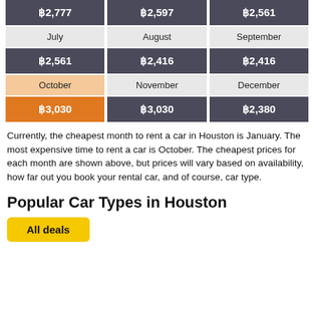| Month | Price |
| --- | --- |
| July | ฿2,561 |
| August | ฿2,416 |
| September | ฿2,416 |
| October | ฿3,030 |
| November | ฿3,030 |
| December | ฿2,380 |
Currently, the cheapest month to rent a car in Houston is January. The most expensive time to rent a car is October. The cheapest prices for each month are shown above, but prices will vary based on availability, how far out you book your rental car, and of course, car type.
Popular Car Types in Houston
All deals